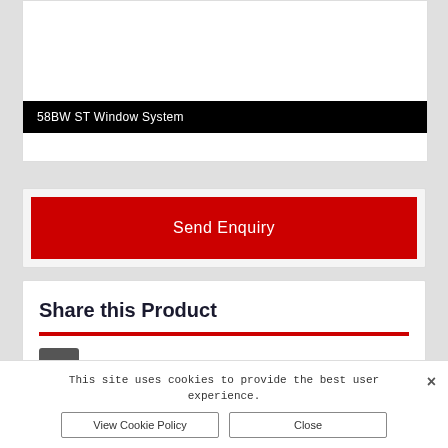58BW ST Window System
Send Enquiry
Share this Product
This site uses cookies to provide the best user experience.
View Cookie Policy
Close